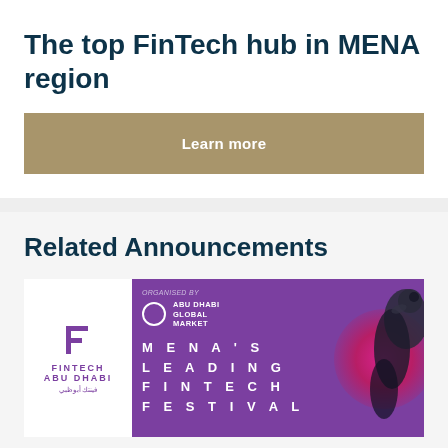The top FinTech hub in MENA region
Learn more
Related Announcements
[Figure (illustration): Fintech Abu Dhabi event banner with purple background, falcon bird graphic, ADGM logo, and text reading MENA'S LEADING FINTECH FESTIVAL]